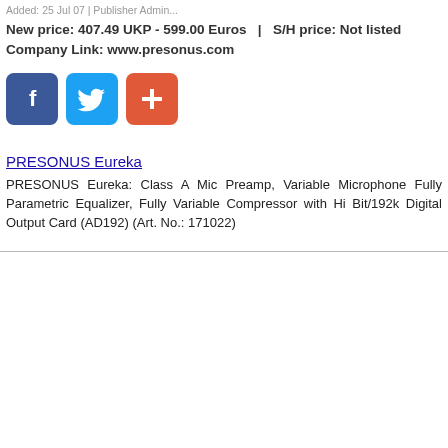Added: 25 Jul 07 | Publisher Admin...
New price: 407.49 UKP - 599.00 Euros  |  S/H price: Not listed
Company Link:  www.presonus.com
[Figure (infographic): Three social media share buttons: Facebook (blue), Twitter (light blue), and a red/orange plus/share button]
PRESONUS Eureka
PRESONUS Eureka: Class A Mic Preamp, Variable Microphone... Fully Parametric Equalizer, Fully Variable Compressor with Hi... Bit/192k Digital Output Card (AD192) (Art. No.: 171022)